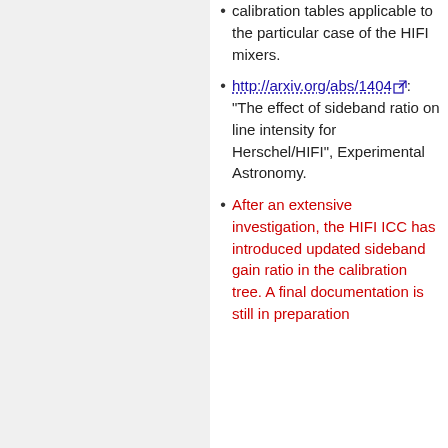calibration tables applicable to the particular case of the HIFI mixers.
http://arxiv.org/abs/1404: "The effect of sideband ratio on line intensity for Herschel/HIFI", Experimental Astronomy.
After an extensive investigation, the HIFI ICC has introduced updated sideband gain ratio in the calibration tree. A final documentation is still in preparation